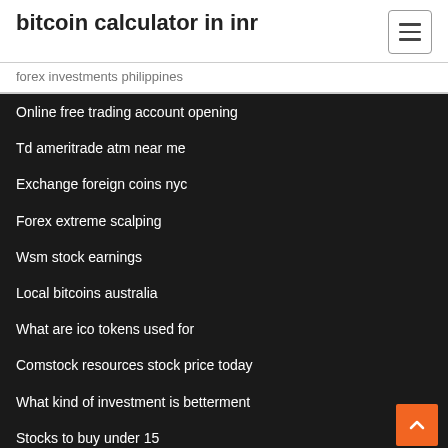bitcoin calculator in inr
forex investments philippines
Online free trading account opening
Td ameritrade atm near me
Exchange foreign coins nyc
Forex extreme scalping
Wsm stock earnings
Local bitcoins australia
What are ico tokens used for
Comstock resources stock price today
What kind of investment is betterment
Stocks to buy under 15